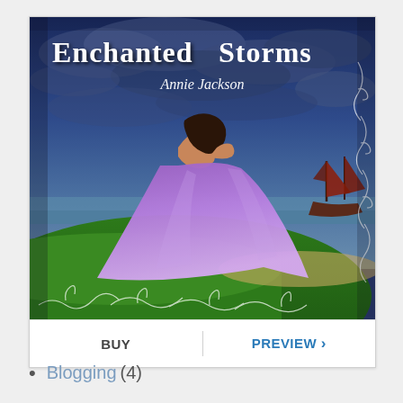[Figure (illustration): Book cover for 'Enchanted Storms' by Annie Jackson. Shows a young woman in a large purple ball gown viewed from behind, standing on a green hillside overlooking the sea. A sailing ship with red sails is visible on the right. The sky is dramatic with dark storm clouds. Decorative swirl borders frame the bottom and right edges. Title text 'Enchanted Storms' in white decorative font at top, author name 'Annie Jackson' in white italic below it.]
BUY   PREVIEW >
Blogging (4)